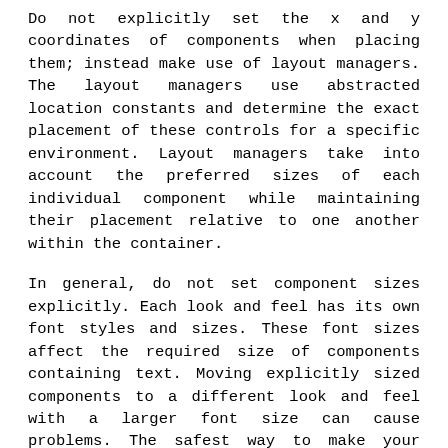Do not explicitly set the x and y coordinates of components when placing them; instead make use of layout managers. The layout managers use abstracted location constants and determine the exact placement of these controls for a specific environment. Layout managers take into account the preferred sizes of each individual component while maintaining their placement relative to one another within the container.
In general, do not set component sizes explicitly. Each look and feel has its own font styles and sizes. These font sizes affect the required size of components containing text. Moving explicitly sized components to a different look and feel with a larger font size can cause problems. The safest way to make your components a proper size in a portable manner is to change to or add another layout manager, or to set the component's minimum and maximum size to its preferred size. The setSize() and getPreferredSize() methods are useful when following the latter approach.
Nesting many JPanels with BorderLayouts is often the most successful approach to creating a portable layout that is both understandable and efficient. Opaque JPanels can be heavily nested with negligible